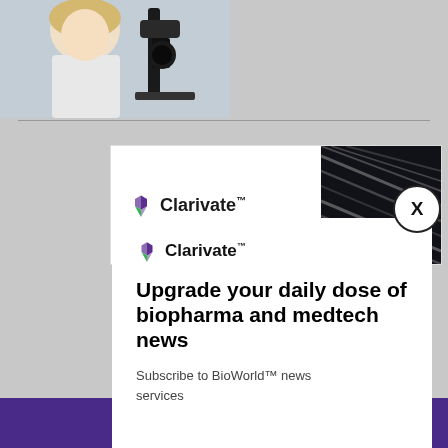[Figure (photo): Partial view of a person (likely a medical professional or patient) near ophthalmic/eye examination equipment, cropped at top of page]
[Figure (logo): Clarivate logo with purple/green icon in background ad banner]
[Figure (photo): Abstract dark angled lines/metallic pattern in right portion of background ad banner]
[Figure (logo): Clarivate logo with purple/green icon in modal popup]
Upgrade your daily dose of biopharma and medtech news
Subscribe to BioWorld™ news services